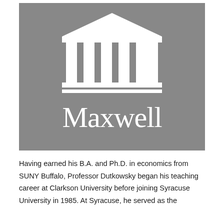[Figure (logo): Maxwell School logo: grey rectangular background with white classical building/temple icon (triangular pediment, columns, horizontal base lines) above the word 'Maxwell' in large white serif font]
Having earned his B.A. and Ph.D. in economics from SUNY Buffalo, Professor Dutkowsky began his teaching career at Clarkson University before joining Syracuse University in 1985. At Syracuse, he served as the